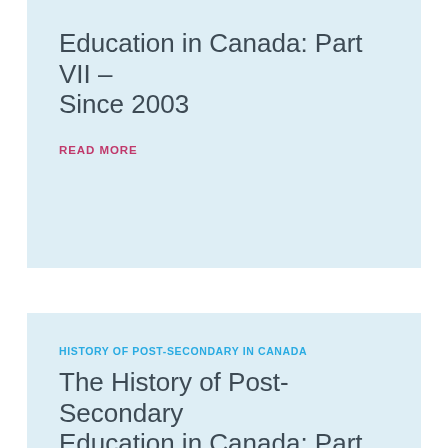Education in Canada: Part VII – Since 2003
READ MORE
HISTORY OF POST-SECONDARY IN CANADA
The History of Post-Secondary Education in Canada: Part VI – 1993 to 2003
READ MORE